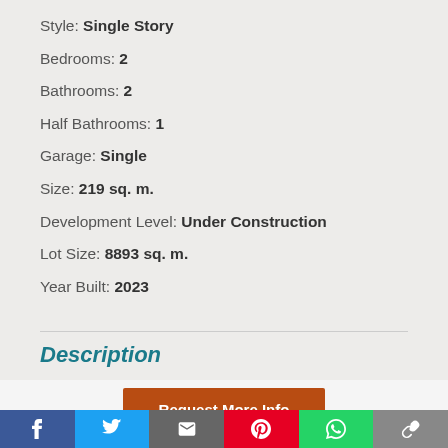Style: Single Story
Bedrooms: 2
Bathrooms: 2
Half Bathrooms: 1
Garage: Single
Size: 219 sq. m.
Development Level: Under Construction
Lot Size: 8893 sq. m.
Year Built: 2023
Description
Request More Info